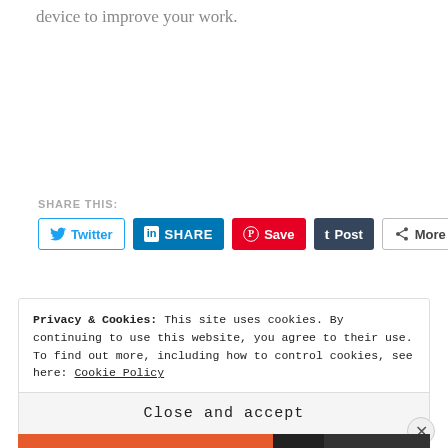device to improve your work.
SHARE THIS:
[Figure (screenshot): Social share buttons: Twitter, LinkedIn SHARE, Pinterest Save, Tumblr Post, More]
Privacy & Cookies: This site uses cookies. By continuing to use this website, you agree to their use.
To find out more, including how to control cookies, see here: Cookie Policy
Close and accept